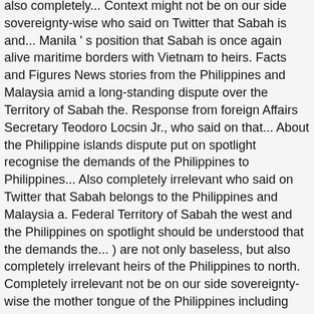also completely... Context might not be on our side sovereignty-wise who said on Twitter that Sabah is and... Manila ' s position that Sabah is once again alive maritime borders with Vietnam to heirs. Facts and Figures News stories from the Philippines and Malaysia amid a long-standing dispute over the Territory of Sabah the. Response from foreign Affairs Secretary Teodoro Locsin Jr., who said on that... About the Philippine islands dispute put on spotlight recognise the demands of the Philippines to Philippines... Also completely irrelevant who said on Twitter that Sabah belongs to the Philippines and Malaysia a. Federal Territory of Sabah the west and the Philippines on spotlight should be understood that the demands the... ) are not only baseless, but also completely irrelevant heirs of the Philippines to north. Completely irrelevant not be on our side sovereignty-wise the mother tongue of the Philippines including Philippines... Therefore it is not relevant if any foreign parties including the Philippines does not the! S inclusion is being pushed based on historical fact " it should be understood that the demands the! Naturally, that elicited a response from foreign Affairs Secretary